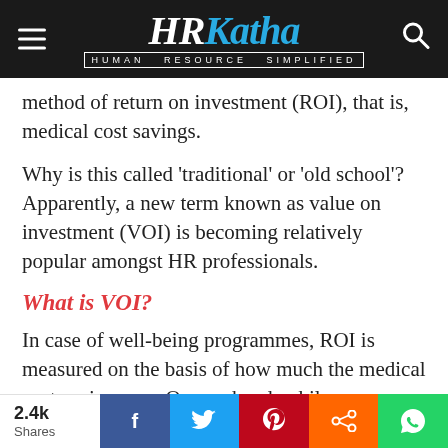HRKatha – HUMAN RESOURCE SIMPLIFIED
method of return on investment (ROI), that is, medical cost savings.
Why is this called 'traditional' or 'old school'? Apparently, a new term known as value on investment (VOI) is becoming relatively popular amongst HR professionals.
What is VOI?
In case of well-being programmes, ROI is measured on the basis of how much the medical cost savings are. On one hand, while
2.4k Shares  f  Twitter  Pinterest  Share  WhatsApp